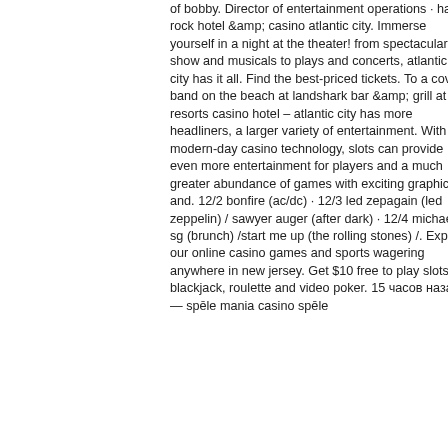of bobby. Director of entertainment operations · hard rock hotel &amp; casino atlantic city. Immerse yourself in a night at the theater! from spectacular show and musicals to plays and concerts, atlantic city has it all. Find the best-priced tickets. To a cover band on the beach at landshark bar &amp; grill at resorts casino hotel – atlantic city has more headliners, a larger variety of entertainment. With modern-day casino technology, slots can provide even more entertainment for players and a much greater abundance of games with exciting graphics and. 12/2 bonfire (ac/dc) · 12/3 led zepagain (led zeppelin) / sawyer auger (after dark) · 12/4 michael sg (brunch) /start me up (the rolling stones) /. Explore our online casino games and sports wagering anywhere in new jersey. Get $10 free to play slots, blackjack, roulette and video poker. 15 часов назад — spēle mania casino spēle